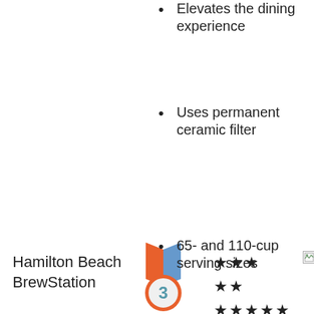Elevates the dining experience
Uses permanent ceramic filter
Hamilton Beach BrewStation
[Figure (illustration): Bronze medal with #3, orange/blue ribbon and stars rating display]
65- and 110-cup serving sizes
Level-indicator window on dispenser
Easy-carry handles